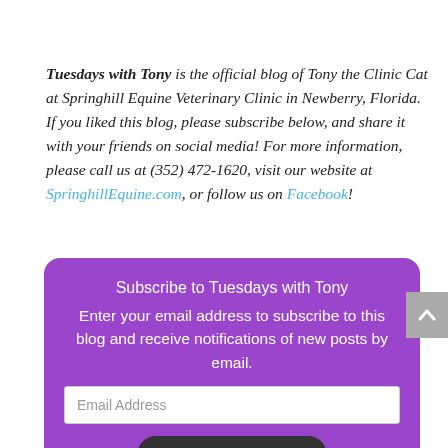Tuesdays with Tony is the official blog of Tony the Clinic Cat at Springhill Equine Veterinary Clinic in Newberry, Florida. If you liked this blog, please subscribe below, and share it with your friends on social media! For more information, please call us at (352) 472-1620, visit our website at SpringhillEquine.com, or follow us on Facebook!
[Figure (other): Purple subscription widget with title 'Subscribe to Tuesdays with Tony', body text 'Enter your email address to subscribe to this blog and receive notifications of new posts by email.', an email address input field, and a dark subscribe button at the bottom.]